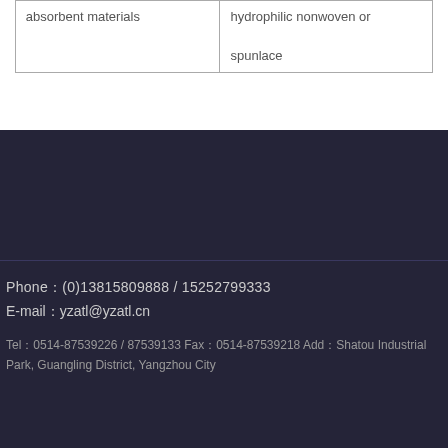| absorbent materials | hydrophilic nonwoven or

spunlace |
Phone：(0)13815809888    /    15252799333
E-mail：yzatl@yzatl.cn
Tel：0514-87539226  /  87539133      Fax：0514-87539218      Add：Shatou Industrial Park, Guangling District, Yangzhou City